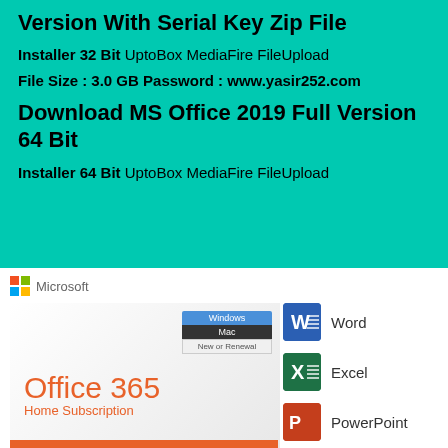Version With Serial Key Zip File
Installer 32 Bit UptoBox MediaFire FileUpload
File Size : 3.0 GB Password : www.yasir252.com
Download MS Office 2019 Full Version 64 Bit
Installer 64 Bit UptoBox MediaFire FileUpload
[Figure (photo): Microsoft Office 365 Home Subscription product box with Windows/Mac compatibility tags, alongside app icons for Word, Excel, and PowerPoint]